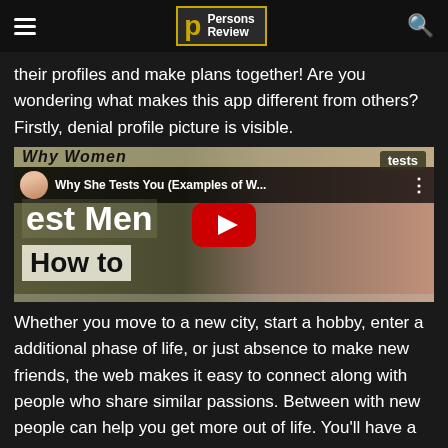Persons Review
their profiles and make plans together! Are you wondering what makes this app different from others? Firstly, denial profile picture is visible.
[Figure (screenshot): YouTube video thumbnail showing 'Why She Tests You (Examples of W...' with a woman's face on the right side. Overlaid text shows 'est Men' and 'How to'. A red YouTube play button is visible in the center. A 'tests' badge is in the top right corner.]
Whether you move to a new city, start a hobby, enter a additional phase of life, or just absence to make new friends, the web makes it easy to connect along with people who share similar passions. Between with new people can help you get more out of life. You'll have a larger support